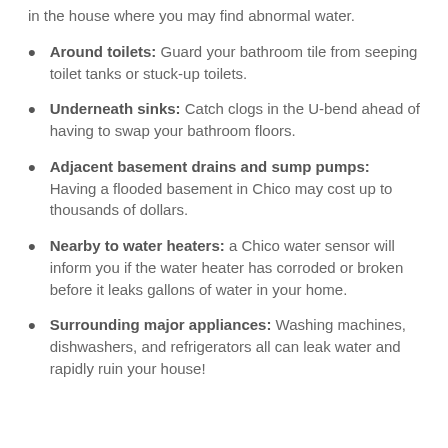in the house where you may find abnormal water.
Around toilets: Guard your bathroom tile from seeping toilet tanks or stuck-up toilets.
Underneath sinks: Catch clogs in the U-bend ahead of having to swap your bathroom floors.
Adjacent basement drains and sump pumps: Having a flooded basement in Chico may cost up to thousands of dollars.
Nearby to water heaters: a Chico water sensor will inform you if the water heater has corroded or broken before it leaks gallons of water in your home.
Surrounding major appliances: Washing machines, dishwashers, and refrigerators all can leak water and rapidly ruin your house!